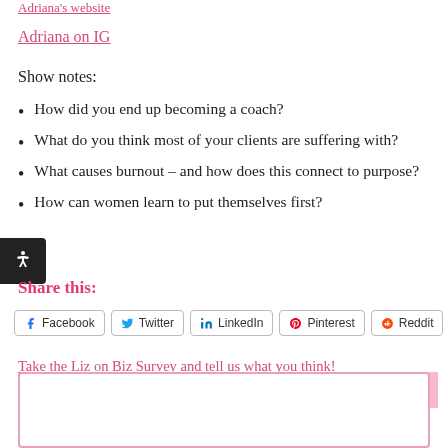Adriana's website
Adriana on IG
Show notes:
How did you end up becoming a coach?
What do you think most of your clients are suffering with?
What causes burnout – and how does this connect to purpose?
How can women learn to put themselves first?
Share this:
Facebook  Twitter  LinkedIn  Pinterest  Reddit
Take the Liz on Biz Survey and tell us what you think!
CONTACT LIZ